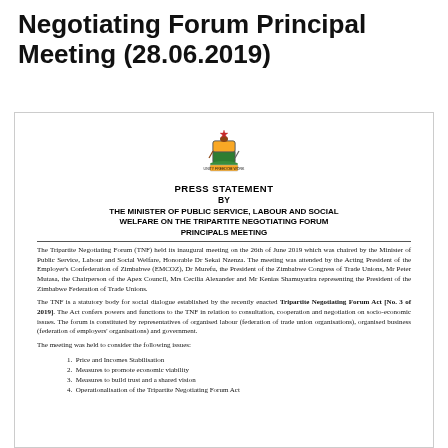Negotiating Forum Principal Meeting (28.06.2019)
[Figure (illustration): Zimbabwe coat of arms / national crest emblem]
PRESS STATEMENT
BY
THE MINISTER OF PUBLIC SERVICE, LABOUR AND SOCIAL WELFARE ON THE TRIPARTITE NEGOTIATING FORUM PRINCIPALS MEETING
The Tripartite Negotiating Forum (TNF) held its inaugural meeting on the 26th of June 2019 which was chaired by the Minister of Public Service, Labour and Social Welfare, Honorable Dr Sekai Nzenza. The meeting was attended by the Acting President of the Employer's Confederation of Zimbabwe (EMCOZ), Dr Murefu, the President of the Zimbabwe Congress of Trade Unions, Mr Peter Mutasa, the Chairperson of the Apex Council, Mrs Cecilia Alexander and Mr Kenias Shamuyarira representing the President of the Zimbabwe Federation of Trade Unions.
The TNF is a statutory body for social dialogue established by the recently enacted Tripartite Negotiating Forum Act [No. 3 of 2019]. The Act confers powers and functions to the TNF in relation to consultation, cooperation and negotiation on socio-economic issues. The forum is constituted by representatives of organised labour (federation of trade union organisations), organised business (federation of employers' organisations) and government.
The meeting was held to consider the following issues:
Price and Incomes Stabilisation
Measures to promote economic viability
Measures to build trust and a shared vision
Operationalisation of the Tripartite Negotiating Forum Act